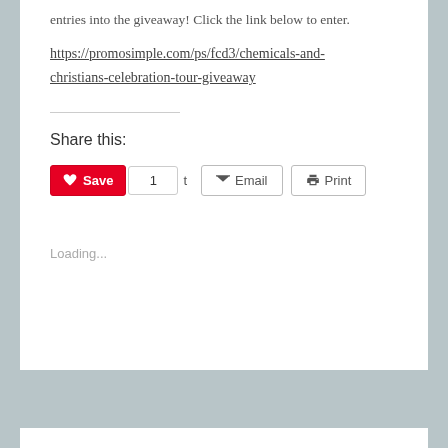entries into the giveaway! Click the link below to enter.
https://promosimple.com/ps/fcd3/chemicals-and-christians-celebration-tour-giveaway
Share this:
Loading...